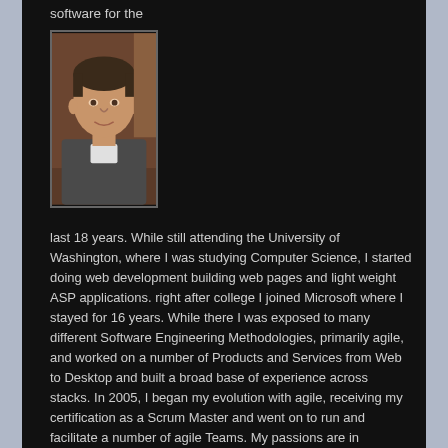software for the
[Figure (photo): Headshot photo of a man with short dark hair wearing a grey jacket, indoors with warm background lighting]
last 18 years. While still attending the University of Washington, where I was studying Computer Science, I started doing web development building web pages and light weight ASP applications. right after college I joined Microsoft where I stayed for 16 years. While there I was exposed to many different Software Engineering Methodologies, primarily agile, and worked on a number of Products and Services from Web to Desktop and built a broad base of experience across stacks. In 2005, I began my evolution with agile, receiving my certification as a Scrum Master and went on to run and facilitate a number of agile Teams. My passions are in Services and Distributed Systems as well as Mathematics.